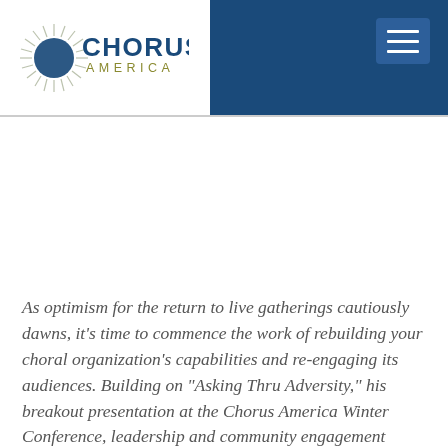[Figure (logo): Chorus America logo with starburst/sunburst graphic on left, 'CHORUS' in bold dark blue, 'AMERICA' in olive/gold smaller letters beneath]
Chorus America navigation header with logo and hamburger menu
As optimism for the return to live gatherings cautiously dawns, it’s time to commence the work of rebuilding your choral organization’s capabilities and re-engaging its audiences. Building on “Asking Thru Adversity,” his breakout presentation at the Chorus America Winter Conference, leadership and community engagement consultant Matt Lehrman offers this guide to focusing